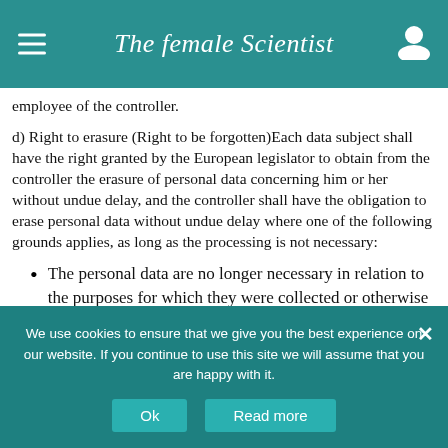The female Scientist
employee of the controller.
d) Right to erasure (Right to be forgotten)Each data subject shall have the right granted by the European legislator to obtain from the controller the erasure of personal data concerning him or her without undue delay, and the controller shall have the obligation to erase personal data without undue delay where one of the following grounds applies, as long as the processing is not necessary:
The personal data are no longer necessary in relation to the purposes for which they were collected or otherwise processed.
We use cookies to ensure that we give you the best experience on our website. If you continue to use this site we will assume that you are happy with it.